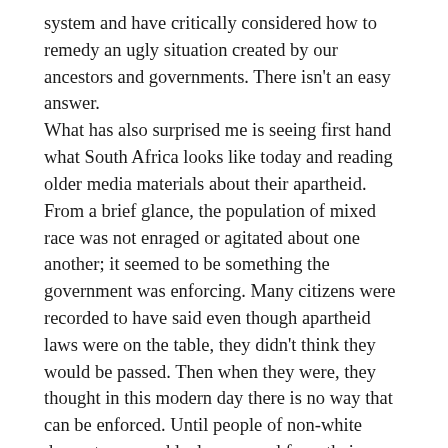system and have critically considered how to remedy an ugly situation created by our ancestors and governments. There isn't an easy answer. What has also surprised me is seeing first hand what South Africa looks like today and reading older media materials about their apartheid. From a brief glance, the population of mixed race was not enraged or agitated about one another; it seemed to be something the government was enforcing. Many citizens were recorded to have said even though apartheid laws were on the table, they didn't think they would be passed. Then when they were, they thought in this modern day there is no way that can be enforced. Until people of non-white descent were suddenly removed from their homes. That was not but 50-70 years ago. AFTER WWII and all we learned as a human race. The same thing happened here in Zimbabwe but on this end the whites were forced off the land.
Then interestingly enough, I heard an entirely different